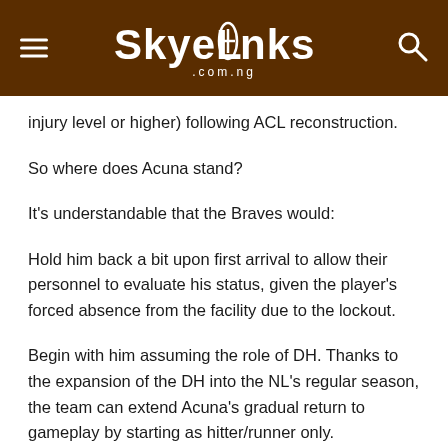SkyeLinks.com.ng
injury level or higher) following ACL reconstruction.
So where does Acuna stand?
It's understandable that the Braves would:
Hold him back a bit upon first arrival to allow their personnel to evaluate his status, given the player's forced absence from the facility due to the lockout.
Begin with him assuming the role of DH. Thanks to the expansion of the DH into the NL's regular season, the team can extend Acuna's gradual return to gameplay by starting as hitter/runner only.